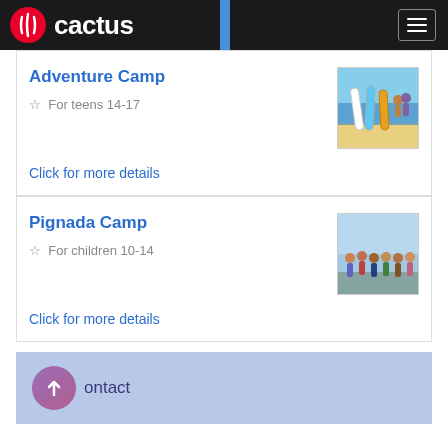cactus
Adventure Camp
☆ For teens 14-17
Click for more details
[Figure (photo): Surfboards on a beach with people in the background]
Pignada Camp
☆ For children 10-14
Click for more details
[Figure (photo): Group of children/teens posing outdoors near the sea]
Contact